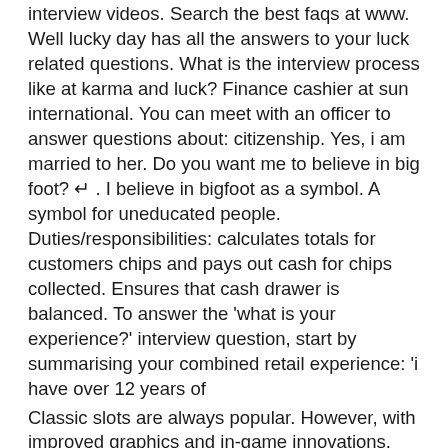interview videos. Search the best faqs at www. Well lucky day has all the answers to your luck related questions. What is the interview process like at karma and luck? Finance cashier at sun international. You can meet with an officer to answer questions about: citizenship. Yes, i am married to her. Do you want me to believe in big foot? ↵ . I believe in bigfoot as a symbol. A symbol for uneducated people. Duties/responsibilities: calculates totals for customers chips and pays out cash for chips collected. Ensures that cash drawer is balanced. To answer the 'what is your experience?' interview question, start by summarising your combined retail experience: 'i have over 12 years of
Classic slots are always popular. However, with improved graphics and in-game innovations, some new slots jump to the top of the list. Here is our guide to the most popular UK slots. casino cashier interview